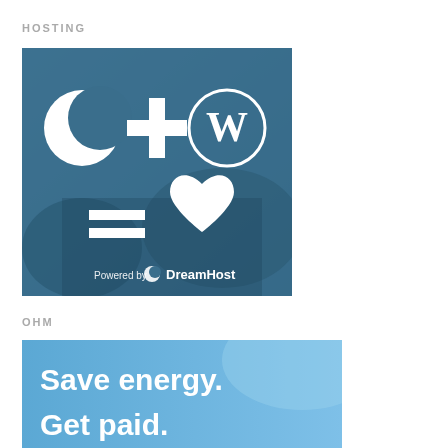HOSTING
[Figure (illustration): DreamHost + WordPress promotional image showing a crescent moon logo plus WordPress logo equals a heart symbol, with 'Powered by DreamHost' text at the bottom, overlaid on a blurred background of someone using a calculator]
OHM
[Figure (illustration): OHM energy savings promotional banner with light blue background and white text reading 'Save energy. Get paid.']